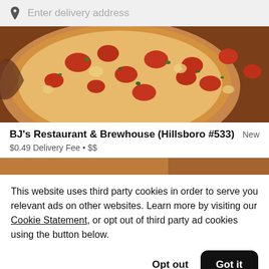Enter delivery address
[Figure (photo): Close-up photo of a pizza with tomatoes, herbs, and cheese toppings in a pan]
BJ's Restaurant & Brewhouse (Hillsboro #533)
New
$0.49 Delivery Fee • $$
[Figure (photo): Partial view of another restaurant photo]
This website uses third party cookies in order to serve you relevant ads on other websites. Learn more by visiting our Cookie Statement, or opt out of third party ad cookies using the button below.
Opt out
Got it